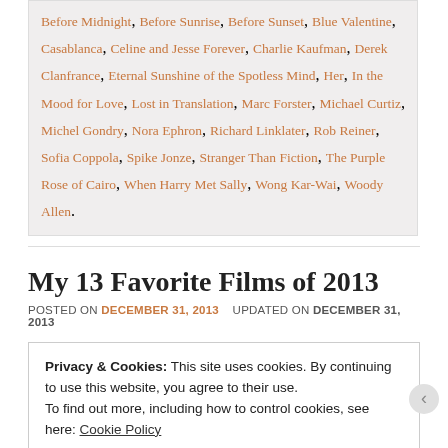Before Midnight, Before Sunrise, Before Sunset, Blue Valentine, Casablanca, Celine and Jesse Forever, Charlie Kaufman, Derek Clanfrance, Eternal Sunshine of the Spotless Mind, Her, In the Mood for Love, Lost in Translation, Marc Forster, Michael Curtiz, Michel Gondry, Nora Ephron, Richard Linklater, Rob Reiner, Sofia Coppola, Spike Jonze, Stranger Than Fiction, The Purple Rose of Cairo, When Harry Met Sally, Wong Kar-Wai, Woody Allen.
My 13 Favorite Films of 2013
POSTED ON DECEMBER 31, 2013  UPDATED ON DECEMBER 31, 2013
Privacy & Cookies: This site uses cookies. By continuing to use this website, you agree to their use. To find out more, including how to control cookies, see here: Cookie Policy
Close and accept